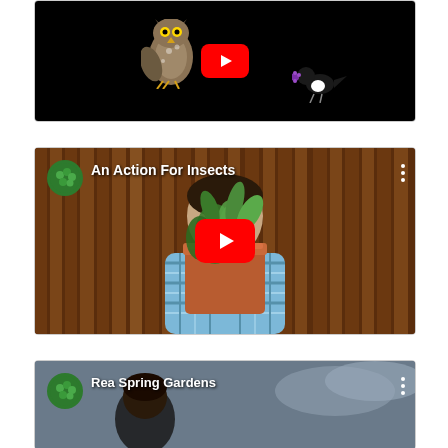[Figure (screenshot): YouTube video thumbnail 1: black background with illustrated owl and small bird (magpie-like) with flower, red YouTube play button centered]
[Figure (screenshot): YouTube video thumbnail 2: channel 'An Action For Insects', person holding plant pot in front of face, channel icon (green leaves circle) top left, three-dots menu top right, red YouTube play button centered]
[Figure (screenshot): YouTube video thumbnail 3 (partially visible): channel 'Rea Spring Gardens', outdoor scene with person, green leaf channel icon top left, three-dots menu top right]